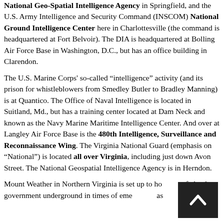National Geo-Spatial Intelligence Agency in Springfield, and the U.S. Army Intelligence and Security Command (INSCOM) National Ground Intelligence Center here in Charlottesville (the command is headquartered at Fort Belvoir). The DIA is headquartered at Bolling Air Force Base in Washington, D.C., but has an office building in Clarendon.
The U.S. Marine Corps' so-called "intelligence" activity (and its prison for whistleblowers from Smedley Butler to Bradley Manning) is at Quantico. The Office of Naval Intelligence is located in Suitland, Md., but has a training center located at Dam Neck and known as the Navy Marine Maritime Intelligence Center. And over at Langley Air Force Base is the 480th Intelligence, Surveillance and Reconnaissance Wing. The Virginia National Guard (emphasis on "National") is located all over Virginia, including just down Avon Street. The National Geospatial Intelligence Agency is in Herndon.
Mount Weather in Northern Virginia is set up to house the federal government underground in times of emergency, as